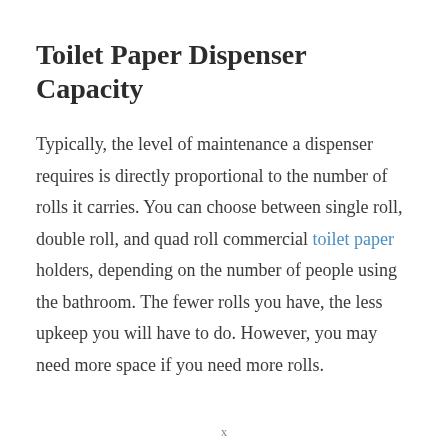Toilet Paper Dispenser Capacity
Typically, the level of maintenance a dispenser requires is directly proportional to the number of rolls it carries. You can choose between single roll, double roll, and quad roll commercial toilet paper holders, depending on the number of people using the bathroom. The fewer rolls you have, the less upkeep you will have to do. However, you may need more space if you need more rolls.
x